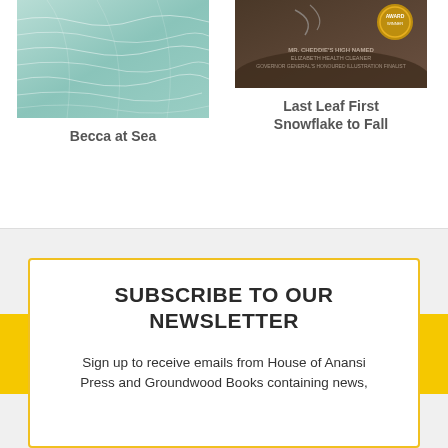[Figure (illustration): Book cover for 'Becca at Sea' showing teal/green wavy water surface with white line patterns]
Becca at Sea
[Figure (illustration): Book cover for 'Last Leaf First Snowflake to Fall' showing a dark nature scene with a gold award medallion]
Last Leaf First Snowflake to Fall
SUBSCRIBE TO OUR NEWSLETTER
Sign up to receive emails from House of Anansi Press and Groundwood Books containing news,